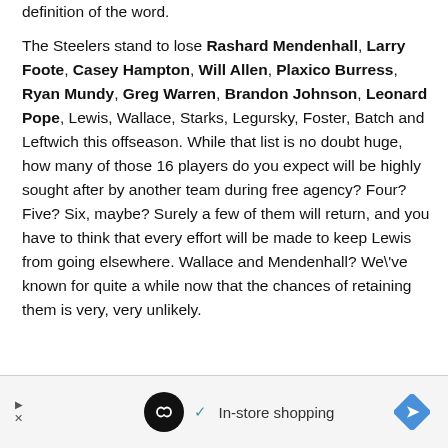definition of the word.
The Steelers stand to lose Rashard Mendenhall, Larry Foote, Casey Hampton, Will Allen, Plaxico Burress, Ryan Mundy, Greg Warren, Brandon Johnson, Leonard Pope, Lewis, Wallace, Starks, Legursky, Foster, Batch and Leftwich this offseason. While that list is no doubt huge, how many of those 16 players do you expect will be highly sought after by another team during free agency? Four? Five? Six, maybe? Surely a few of them will return, and you have to think that every effort will be made to keep Lewis from going elsewhere. Wallace and Mendenhall? We\'ve known for quite a while now that the chances of retaining them is very, very unlikely.
[Figure (other): Advertisement banner: infinity loop logo, checkmark icon, 'In-store shopping' text, navigation arrow diamond icon]